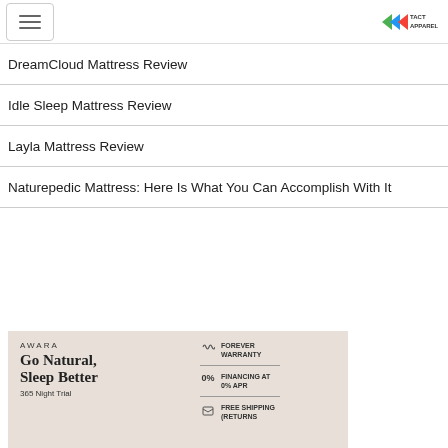Menu | TACT APPAREL logo
DreamCloud Mattress Review
Idle Sleep Mattress Review
Layla Mattress Review
Naturepedic Mattress: Here Is What You Can Accomplish With It
[Figure (photo): AWARA mattress advertisement: 'Go Natural, Sleep Better' with 365 Night Trial, Forever Warranty (infinity symbol), 0% Financing at 0% APR, Free Shipping (Returns)]